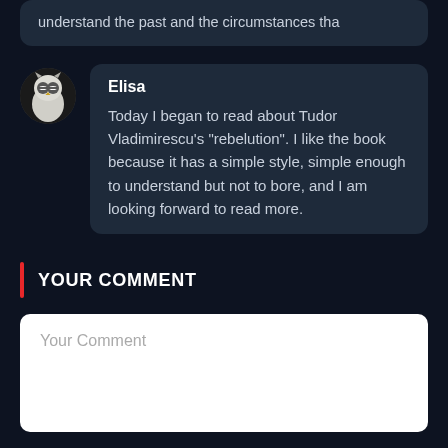understand the past and the circumstances tha
Elisa
Today I began to read about Tudor Vladimirescu's "rebelution". I like the book because it has a simple style, simple enough to understand but not to bore, and I am looking forward to read more.
YOUR COMMENT
Your Comment